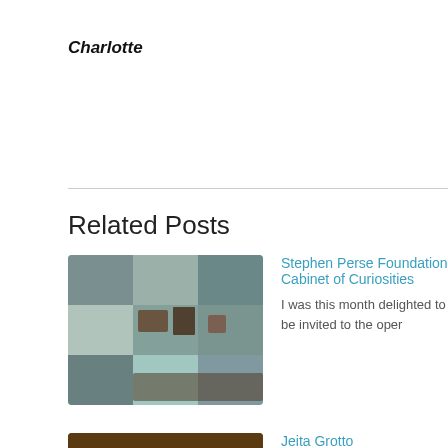Charlotte
Related Posts
Stephen Perse Foundation Cabinet of Curiosities — I was this month delighted to be invited to the oper
Jeita Grotto — We have just returned from a few days in the Leban
Polo at Cowdray Park 15th July — Charlotte Bailey Rocks Fossils and Minerals will be e... Veuve Clicquot ...